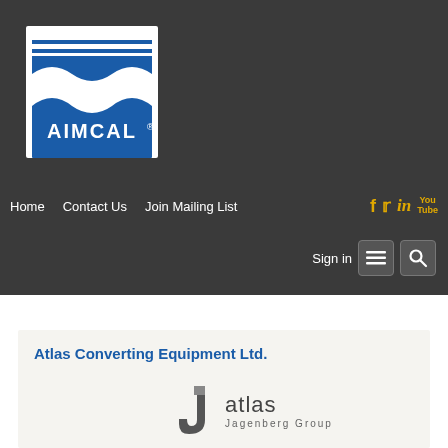AIMCAL logo — navigation bar with Home, Contact Us, Join Mailing List links and social icons (Facebook, Twitter, LinkedIn, YouTube); Sign in button with menu and search icons
Atlas Converting Equipment Ltd.
[Figure (logo): Atlas Jagenberg Group logo — stylized J hook mark in dark grey with 'atlas' text and 'Jagenberg Group' subtitle]